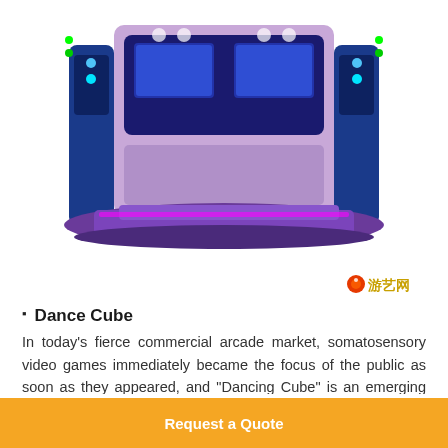[Figure (photo): Arcade dance machine with colorful LED lights, purple and blue design, featuring two side towers and a central platform with multiple game screens at the top.]
[Figure (logo): Chinese website logo with orange/red circle icon and yellow Chinese characters text]
Dance Cube
In today's fierce commercial arcade market, somatosensory video games immediately became the focus of the public as soon as they appeared, and "Dancing Cube" is an emerging somatosensory game product that keeps up with the pace of the times and interacts with humans. Somatosensory video game is a 3D somatosensory camera that uses real-time dynamic capture, image recognition, microphone input, and voice
Request a Quote